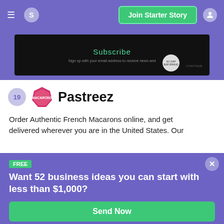Join Starter Story
[Figure (screenshot): Subscribe banner with email signup form on dark background]
19 Pastreez
Order Authentic French Macarons online, and get delivered wherever you are in the United States. Our
FREE
Want 52 business ideas you can start with less than $1,000?
Your email
Send Now